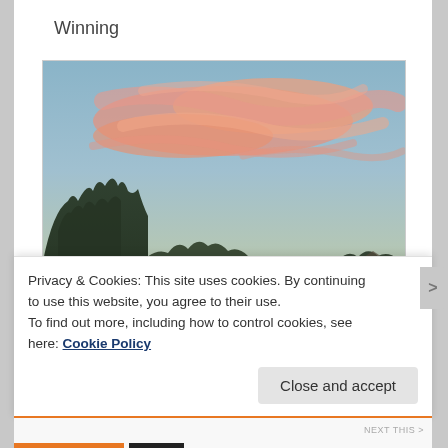Winning
[Figure (photo): Outdoor photograph of a dramatic sunset sky with pink and orange wispy clouds over a silhouette of trees and suburban rooftops]
Privacy & Cookies: This site uses cookies. By continuing to use this website, you agree to their use.
To find out more, including how to control cookies, see here: Cookie Policy